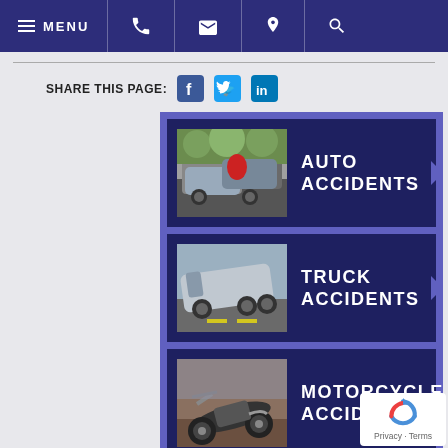MENU (navigation bar with phone, email, location, search icons)
SHARE THIS PAGE:
AUTO ACCIDENTS
TRUCK ACCIDENTS
MOTORCYCLE ACCIDENTS